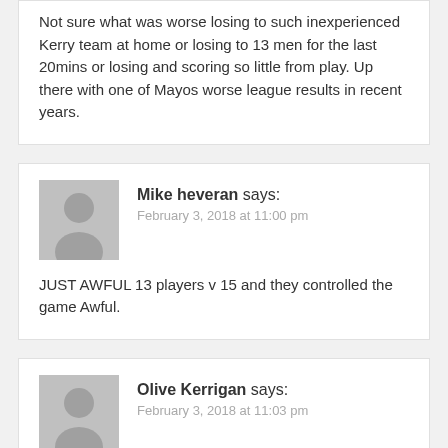Not sure what was worse losing to such inexperienced Kerry team at home or losing to 13 men for the last 20mins or losing and scoring so little from play. Up there with one of Mayos worse league results in recent years.
Mike heveran says: February 3, 2018 at 11:00 pm
JUST AWFUL 13 players v 15 and they controlled the game Awful.
Olive Kerrigan says: February 3, 2018 at 11:03 pm
– Its a simple game really and Kerry kept it simple they used their pace and ability to kick points from 30 yards out from play